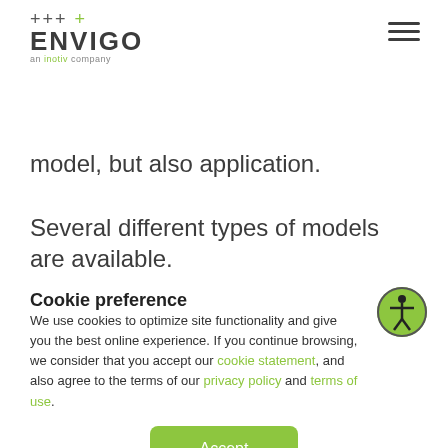++++ ENVIGO an inotiv company
model, but also application.
Several different types of models are available.
“The easiest is the knockout model or point
Cookie preference
We use cookies to optimize site functionality and give you the best online experience. If you continue browsing, we consider that you accept our cookie statement, and also agree to the terms of our privacy policy and terms of use.
Accept